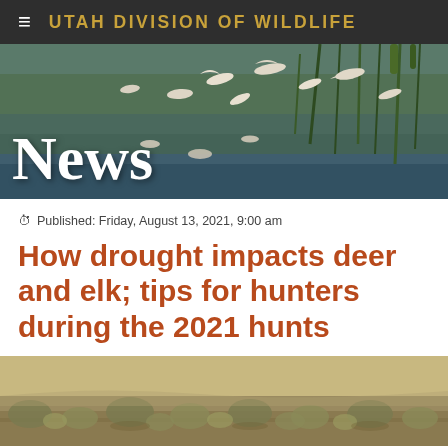UTAH DIVISION OF WILDLIFE
[Figure (photo): News banner photo showing birds (pelicans, waterfowl) in flight over a wetland/marsh with tall grasses and water. White text 'News' overlaid in large serif bold font.]
Published: Friday, August 13, 2021, 9:00 am
How drought impacts deer and elk; tips for hunters during the 2021 hunts
[Figure (photo): Photograph of a dry, drought-affected sagebrush landscape with sparse, dry shrubs on arid ground.]